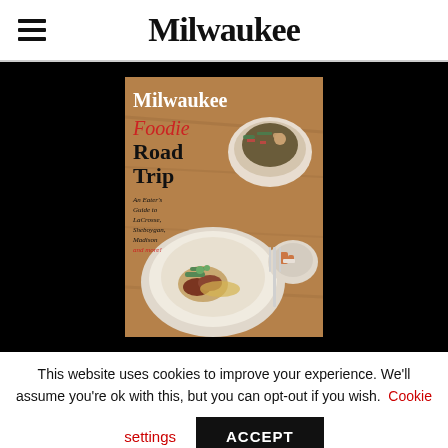Milwaukee
[Figure (photo): Milwaukee magazine cover showing 'Milwaukee Foodie Road Trip' with food photography of plated dishes on a wooden table. Subtitle reads: An Eater's Guide to LaCrosse, Sheboygan, Madison and more!]
This website uses cookies to improve your experience. We'll assume you're ok with this, but you can opt-out if you wish. Cookie settings ACCEPT